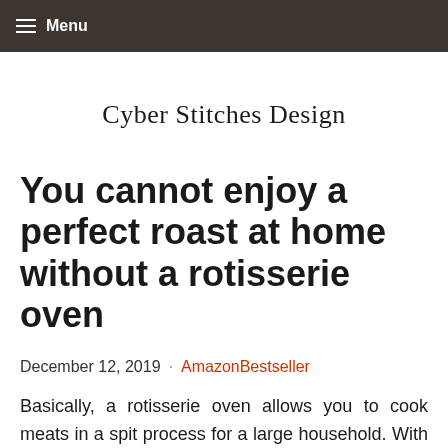≡ Menu
Cyber Stitches Design
You cannot enjoy a perfect roast at home without a rotisserie oven
December 12, 2019 · AmazonBestseller
Basically, a rotisserie oven allows you to cook meats in a spit process for a large household. With the